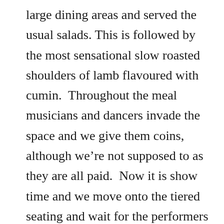large dining areas and served the usual salads. This is followed by the most sensational slow roasted shoulders of lamb flavoured with cumin.  Throughout the meal musicians and dancers invade the space and we give them coins, although we're not supposed to as they are all paid.  Now it is show time and we move onto the tiered seating and wait for the performers to appear.  There is a procession of dancers, musicians and people in costumes all looking very bored with what they are doing. At one point Aladdin's flying carpet slowly crosses the stage on a wire and various floats go past. The show climaxes with cavalry charges where the riders, dressed as Lawrence of Arabia freedom fighters gallop past and fire